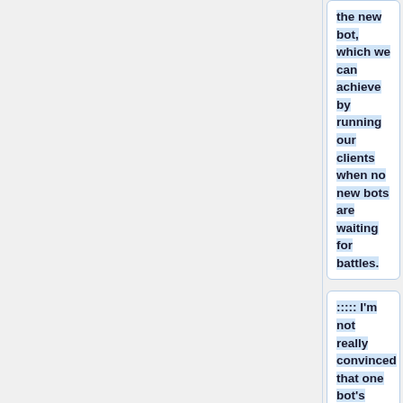the new bot, which we can achieve by running our clients when no new bots are waiting for battles.
::::: I'm not really convinced that one bot's specialization can have a measurable influence on other bots' relative scores in this way, but it obviously has some impact. And in the